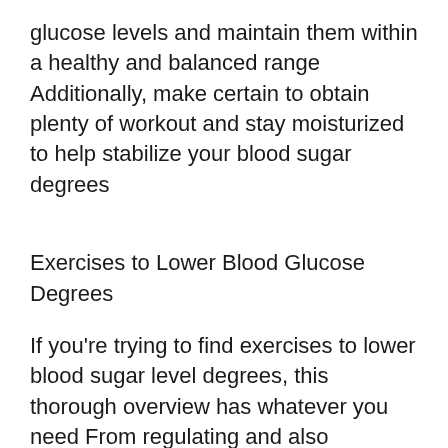glucose levels and maintain them within a healthy and balanced range Additionally, make certain to obtain plenty of workout and stay moisturized to help stabilize your blood sugar degrees
Exercises to Lower Blood Glucose Degrees
If you're trying to find exercises to lower blood sugar level degrees, this thorough overview has whatever you need From regulating and also managing blood sugar level, to stabilizing and also enhancing it, we cover all the bases Plus, pointers on how to manufacture insulin and reduce appetite